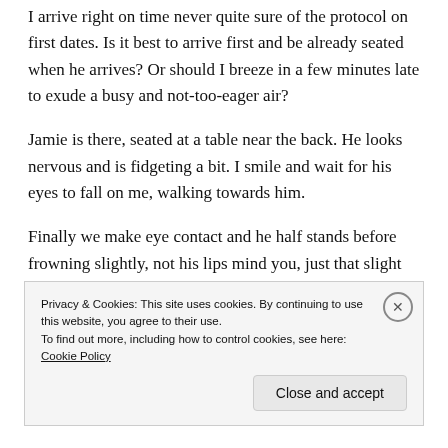I arrive right on time never quite sure of the protocol on first dates. Is it best to arrive first and be already seated when he arrives? Or should I breeze in a few minutes late to exude a busy and not-too-eager air?
Jamie is there, seated at a table near the back. He looks nervous and is fidgeting a bit. I smile and wait for his eyes to fall on me, walking towards him.
Finally we make eye contact and he half stands before frowning slightly, not his lips mind you, just that slight furrowing of the brow when you are thinking hard. I
Privacy & Cookies: This site uses cookies. By continuing to use this website, you agree to their use.
To find out more, including how to control cookies, see here: Cookie Policy
Close and accept